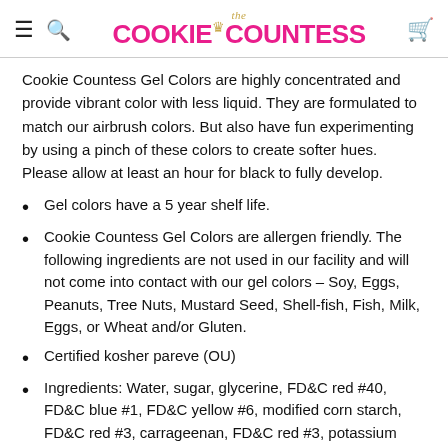the COOKIE COUNTESS
Cookie Countess Gel Colors are highly concentrated and provide vibrant color with less liquid. They are formulated to match our airbrush colors. But also have fun experimenting by using a pinch of these colors to create softer hues. Please allow at least an hour for black to fully develop.
Gel colors have a 5 year shelf life.
Cookie Countess Gel Colors are allergen friendly. The following ingredients are not used in our facility and will not come into contact with our gel colors – Soy, Eggs, Peanuts, Tree Nuts, Mustard Seed, Shell-fish, Fish, Milk, Eggs, or Wheat and/or Gluten.
Certified kosher pareve (OU)
Ingredients: Water, sugar, glycerine, FD&C red #40,  FD&C blue #1, FD&C yellow #6, modified corn starch, FD&C red #3, carrageenan, FD&C red #3, potassium sorbate